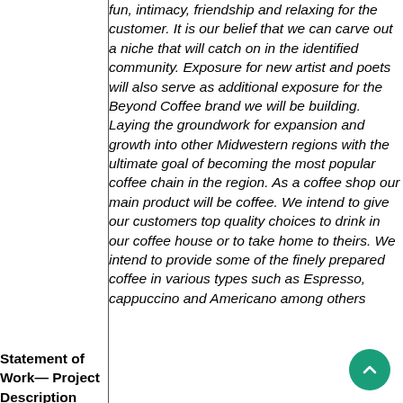|  |  |
| --- | --- |
| Statement of Work—Project Description andProject Product | fun, intimacy, friendship and relaxing for the customer. It is our belief that we can carve out a niche that will catch on in the identified community. Exposure for new artist and poets will also serve as additional exposure for the Beyond Coffee brand we will be building. Laying the groundwork for expansion and growth into other Midwestern regions with the ultimate goal of becoming the most popular coffee chain in the region. As a coffee shop our main product will be coffee. We intend to give our customers top quality choices to drink in our coffee house or to take home to theirs. We intend to provide some of the finely prepared coffee in various types such as Espresso, cappuccino and Americano among others |